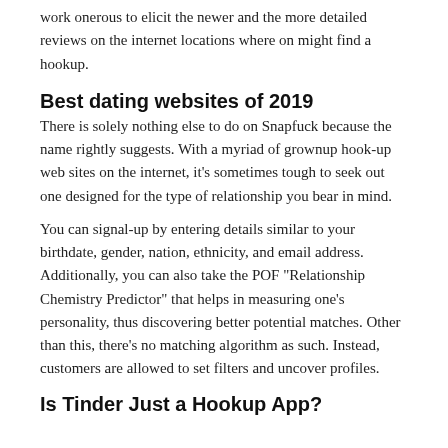work onerous to elicit the newer and the more detailed reviews on the internet locations where on might find a hookup.
Best dating websites of 2019
There is solely nothing else to do on Snapfuck because the name rightly suggests. With a myriad of grownup hook-up web sites on the internet, it’s sometimes tough to seek out one designed for the type of relationship you bear in mind.
You can signal-up by entering details similar to your birthdate, gender, nation, ethnicity, and email address. Additionally, you can also take the POF “Relationship Chemistry Predictor” that helps in measuring one’s personality, thus discovering better potential matches. Other than this, there’s no matching algorithm as such. Instead, customers are allowed to set filters and uncover profiles.
Is Tinder Just a Hookup App?